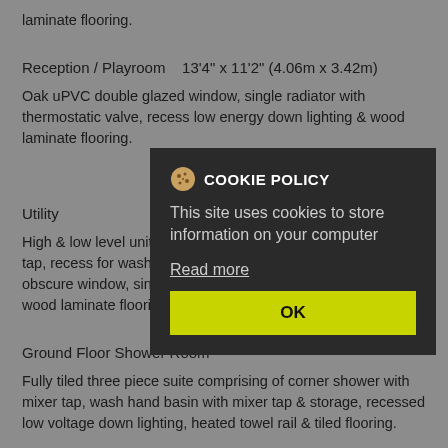laminate flooring.
Reception / Playroom    13'4" x 11'2" (4.06m x 3.42m)
Oak uPVC double glazed window, single radiator with thermostatic valve, recess low energy down lighting & wood laminate flooring.
Utility
High & low level units, stainless steel half bowl sink with mixer tap, recess for washing machine & tumble dryer, oak uPVC obscure window, single radiator with thermostatic valve & wood laminate flooring.
Ground Floor Shower Room
Fully tiled three piece suite comprising of corner shower with mixer tap, wash hand basin with mixer tap & storage, recessed low voltage down lighting, heated towel rail & tiled flooring.
COOKIE POLICY
This site uses cookies to store information on your computer
Read more
OK